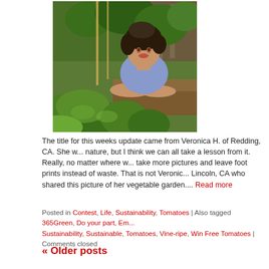[Figure (photo): Woman smiling in a vegetable garden with lush green plants, raised beds, and bamboo stakes in the background]
The title for this weeks update came from Veronica H. of Redding, CA. She w... nature, but I think we can all take a lesson from it. Really, no matter where w... take more pictures and leave foot prints instead of waste. That is not Veronic... Lincoln, CA who shared this picture of her vegetable garden.... Read more
Posted in Contest, Life, Sustainability, Tomatoes | Also tagged 365Green, Do your part, Em... Sustainability, Sustainable, Tomatoes, Vine-ripe, Win Free Tomatoes | Comments closed
« Older posts